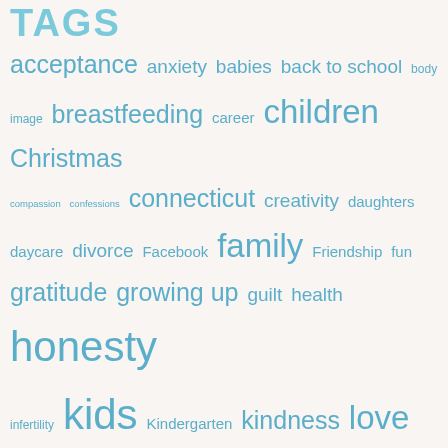TAGS
[Figure (other): Tag cloud with parenting/family blog topic tags in varying font sizes, all in blue-gray color on a light beige background. Tags include: acceptance, anxiety, babies, back to school, body image, breastfeeding, career, children, Christmas, compassion, confessions, connecticut, creativity, daughters, daycare, divorce, Facebook, family, Friendship, fun, gratitude, growing up, guilt, health, honesty, infertility, kids, Kindergarten, kindness, love, marriage, moms, mother's day, motherhood, new mom, parenting, parenting in Connecticut, parents, pregnancy, quotes, school, self-care, siblings, special needs, stress, summer, toddlers, Work, working mom, working moms]